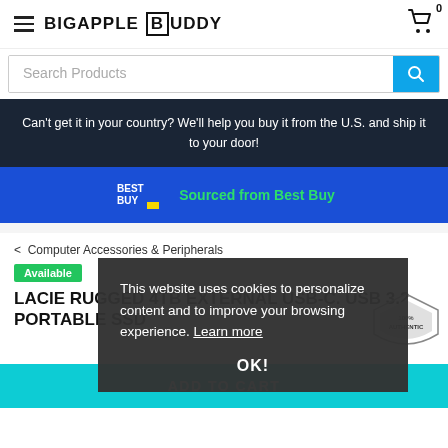BIGAPPLE BUDDY
Search Products
Can't get it in your country? We'll help you buy it from the U.S. and ship it to your door!
Sourced from Best Buy
< Computer Accessories & Peripherals
Available
LACIE RUGGED 4TB EXTERNAL USB-C. USB 3.2 PORTABLE SSD
This website uses cookies to personalize content and to improve your browsing experience. Learn more
OK!
ADD TO CART